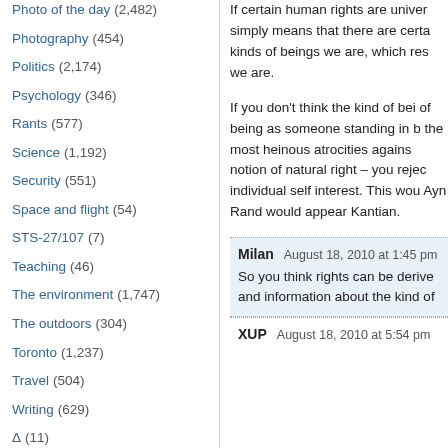Photo of the day (2,482)
Photography (454)
Politics (2,174)
Psychology (346)
Rants (577)
Science (1,192)
Security (551)
Space and flight (54)
STS-27/107 (7)
Teaching (46)
The environment (1,747)
The outdoors (304)
Toronto (1,237)
Travel (504)
Writing (629)
Δ (11)
If certain human rights are univer simply means that there are certa kinds of beings we are, which res we are.
If you don't think the kind of bei of being as someone standing in b the most heinous atrocities agains notion of natural right – you rejec individual self interest. This wou Ayn Rand would appear Kantian.
Milan   August 18, 2010 at 1:45 pm
So you think rights can be derive and information about the kind of
XUP   August 18, 2010 at 5:54 pm